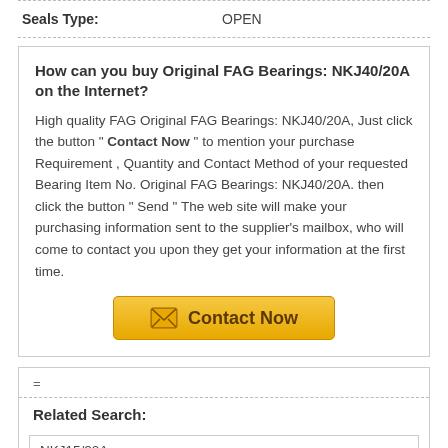Seals Type: OPEN
How can you buy Original FAG Bearings: NKJ40/20A on the Internet?
High quality FAG Original FAG Bearings: NKJ40/20A, Just click the button " Contact Now " to mention your purchase Requirement , Quantity and Contact Method of your requested Bearing Item No. Original FAG Bearings: NKJ40/20A. then click the button " Send " The web site will make your purchasing information sent to the supplier's mailbox, who will come to contact you upon they get your information at the first time.
[Figure (other): Contact Now button with envelope icon]
=
Related Search:
NKJ15/20A
NKJ38/20A